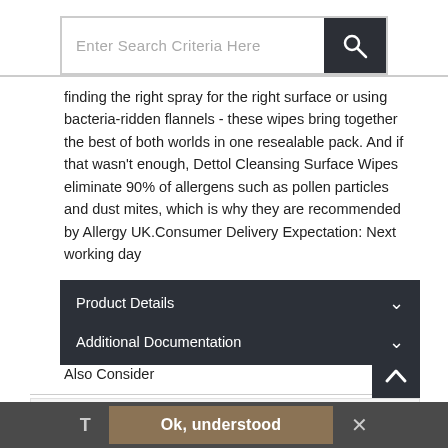[Figure (screenshot): Search bar with text input placeholder 'Enter Search Criteria Here' and a dark search button with magnifying glass icon]
finding the right spray for the right surface or using bacteria-ridden flannels - these wipes bring together the best of both worlds in one resealable pack. And if that wasn't enough, Dettol Cleansing Surface Wipes eliminate 90% of allergens such as pollen particles and dust mites, which is why they are recommended by Allergy UK.Consumer Delivery Expectation: Next working day
Product Details
Additional Documentation
Also Consider
[Figure (screenshot): Cookie consent bar with 'T', 'Ok, understood' button, and 'x' close button]